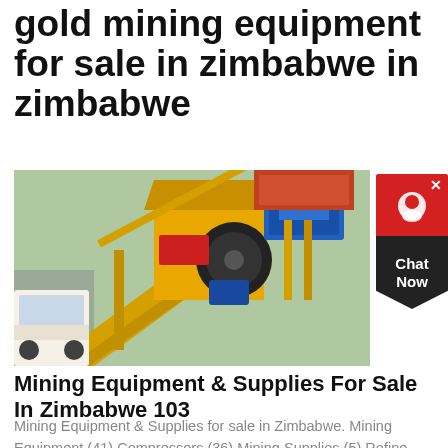gold mining equipment for sale in zimbabwe in zimbabwe
[Figure (photo): Large yellow gold mining equipment/crusher machinery at an outdoor mining site, with orange and blue structures visible in the background]
Mining Equipment & Supplies For Sale In Zimbabwe 103
Mining Equipment & Supplies for sale in Zimbabwe. Mining Equipment (41) Compressors (36) Mining Supplies (5) Refine Search Title ; Title & Description; Price Categories Commercial